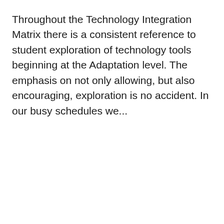Throughout the Technology Integration Matrix there is a consistent reference to student exploration of technology tools beginning at the Adaptation level. The emphasis on not only allowing, but also encouraging, exploration is no accident. In our busy schedules we...